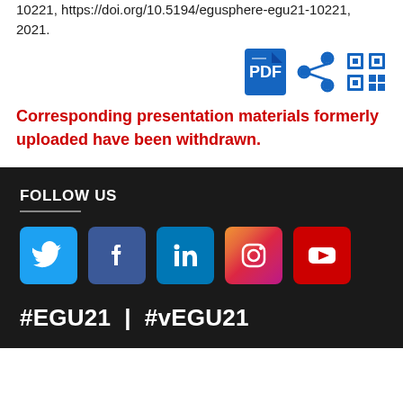10221, https://doi.org/10.5194/egusphere-egu21-10221, 2021.
[Figure (other): Icons row: PDF file icon, share icon, QR code icon]
Corresponding presentation materials formerly uploaded have been withdrawn.
FOLLOW US
#EGU21 | #vEGU21